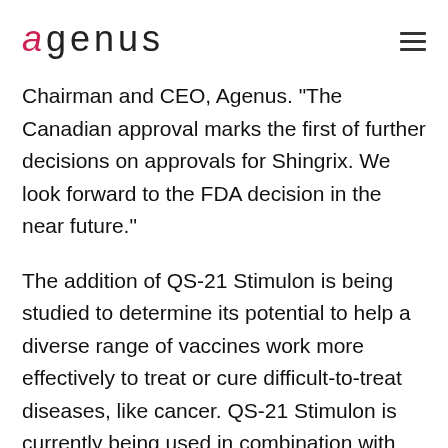agenus
Chairman and CEO, Agenus. "The Canadian approval marks the first of further decisions on approvals for Shingrix. We look forward to the FDA decision in the near future."
The addition of QS-21 Stimulon is being studied to determine its potential to help a diverse range of vaccines work more effectively to treat or cure difficult-to-treat diseases, like cancer. QS-21 Stimulon is currently being used in combination with Agenus' neoantigen vaccine, AutoSynVax™